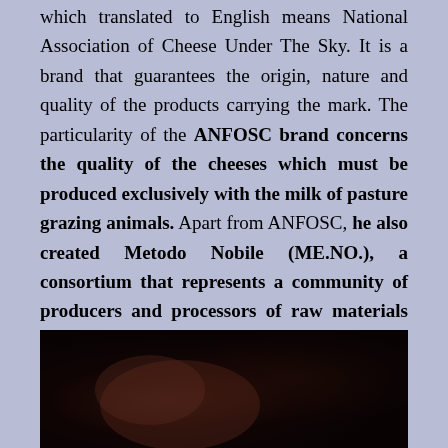which translated to English means National Association of Cheese Under The Sky. It is a brand that guarantees the origin, nature and quality of the products carrying the mark. The particularity of the ANFOSC brand concerns the quality of the cheeses which must be produced exclusively with the milk of pasture grazing animals. Apart from ANFOSC, he also created Metodo Nobile (ME.NO.), a consortium that represents a community of producers and processors of raw materials from various sectors of the agricultural sector.
[Figure (photo): Dark close-up photograph showing what appears to be hands or organic material against a very dark background with reddish-brown tones]